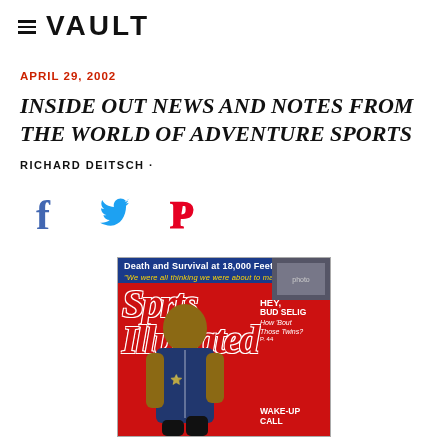VAULT
APRIL 29, 2002
INSIDE OUT NEWS AND NOTES FROM THE WORLD OF ADVENTURE SPORTS
RICHARD DEITSCH •
[Figure (illustration): Social media share icons: Facebook (f), Twitter (bird), Pinterest (P)]
[Figure (photo): Sports Illustrated magazine cover showing an athlete in a basketball jersey, with headline 'Death and Survival at 18,000 Feet', Sports Illustrated logo, and text 'HEY, BUD SELIG How 'Bout Those Twins? P. 44' and 'WAKE-UP CALL']